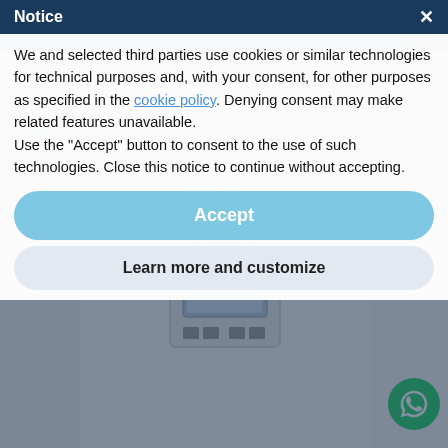Menu / Search / Sign In / Basket (0)
Home / Photovoltaic / Inverter / Inverter for Network Systems + Storage / Solis / Inverter hybrid single phase 5kW 48V photovoltaic system with no form storage
[Figure (photo): Product thumbnail images of Solis hybrid inverter unit and wiring component, shown in left column]
[Figure (photo): Main product image area showing Solis branded hybrid inverter with display panel showing system diagram]
Notice
We and selected third parties use cookies or similar technologies for technical purposes and, with your consent, for other purposes as specified in the cookie policy. Denying consent may make related features unavailable. Use the “Accept” button to consent to the use of such technologies. Close this notice to continue without accepting.
Accept
Learn more and customize